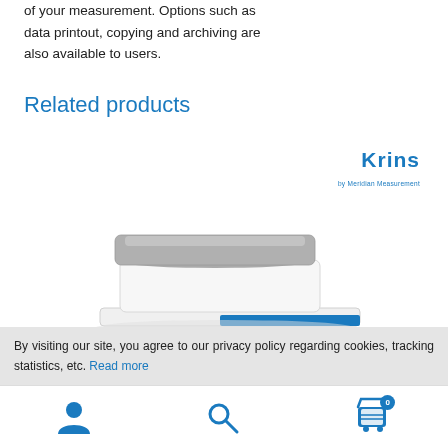of your measurement. Options such as data printout, copying and archiving are also available to users.
Related products
[Figure (photo): A precision laboratory balance/scale with a gray square weighing platform on a white base, with blue accents. The Krins brand logo appears in the upper right area of the image.]
By visiting our site, you agree to our privacy policy regarding cookies, tracking statistics, etc. Read more
Navigation bar with user account icon, search icon, and shopping cart icon with badge showing 0